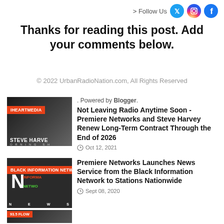> Follow Us
Thanks for reading this post. Add your comments below.
© 2022 UrbanRadioNation.com, All Rights Reserved
. Powered by Blogger.
[Figure (photo): Steve Harvey Morning Show thumbnail with IHEARTMEDIA label]
Not Leaving Radio Anytime Soon - Premiere Networks and Steve Harvey Renew Long-Term Contract Through the End of 2026
Oct 12, 2021
[Figure (photo): Black Information Network thumbnail with BLACK INFORMATION NETWORK label]
Premiere Networks Launches News Service from the Black Information Network to Stations Nationwide
Sept 08, 2020
[Figure (photo): 93.5 FLOW thumbnail with label]